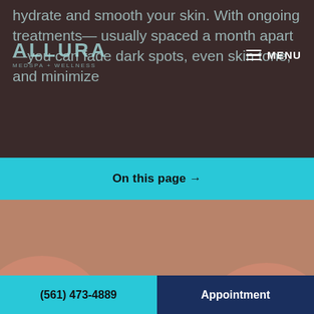hydrate and smooth your skin. With ongoing treatments— usually spaced a month apart—you can fade dark spots, even skin tone, and minimize
[Figure (logo): Allura Medspa + Wellness logo in teal/cyan color overlay on dark background]
MENU
On this page →
[Figure (photo): Close-up photo of a woman smiling showing white teeth, lips and lower face, warm skin tones]
(561) 473-4889
Appointment